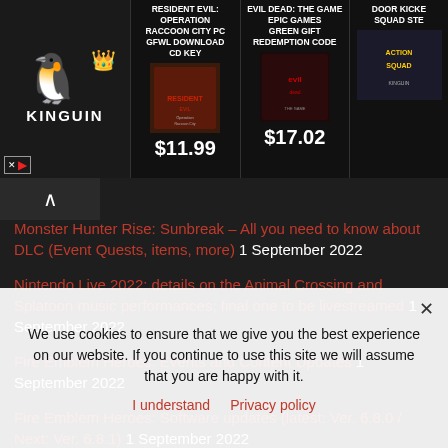[Figure (screenshot): Kinguin advertisement banner with three game products: Resident Evil Operation Raccoon City PC GFWL Download CD Key at $11.99, Evil Dead: The Game Epic Games Green Gift Redemption Code at $17.02, and Door Kickers Action Squad (partially visible)]
Monster Hunter Rise: Sunbreak – All you need to know about DLC (Event Quests, items, more) 1 September 2022
Nintendo Live 2022: details on the Animal Crossing and Splatoon music performances; final one to be livestreamed 1 September 2022
Fire Emblem Heroes: Events and Content Updates 1 September 2022
Fire Emblem Heroes: Software updates (latest: Ver. 6.8.0 / Next: Ver. 6.8.1) 1 September 2022
Pokémon Masters EX: Events and Content Updates 1 September 2022
We use cookies to ensure that we give you the best experience on our website. If you continue to use this site we will assume that you are happy with it.
I understand  Privacy policy